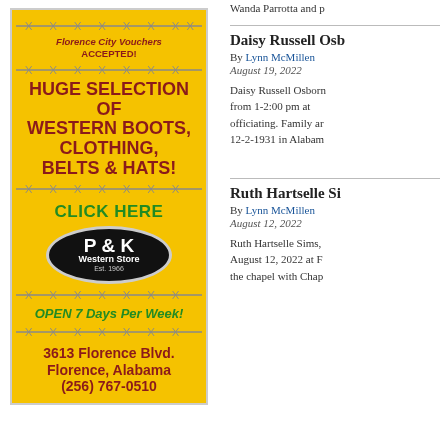[Figure (illustration): P & K Western Store advertisement on yellow background with barbed wire decorative borders. Text includes: Florence City Vouchers ACCEPTED!, HUGE SELECTION OF WESTERN BOOTS, CLOTHING, BELTS & HATS!, CLICK HERE, P & K Western Store Est. 1966 logo in black oval, OPEN 7 Days Per Week!, 3613 Florence Blvd. Florence, Alabama (256) 767-0510]
Wanda Parrotta and p
Daisy Russell Osb
By Lynn McMillen
August 19, 2022
Daisy Russell Osborn from 1-2:00 pm at officiating. Family ar 12-2-1931 in Alabam
Ruth Hartselle Si
By Lynn McMillen
August 12, 2022
Ruth Hartselle Sims, August 12, 2022 at F the chapel with Chap